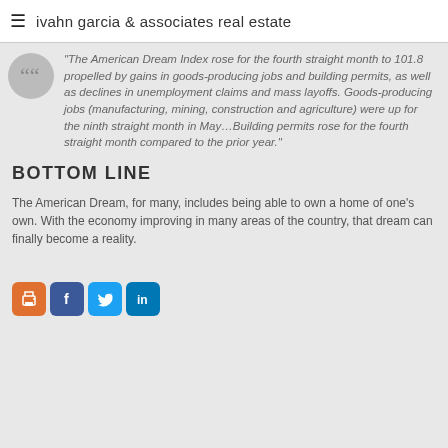ivahn garcia & associates real estate
"The American Dream Index rose for the fourth straight month to 101.8 propelled by gains in goods-producing jobs and building permits, as well as declines in unemployment claims and mass layoffs. Goods-producing jobs (manufacturing, mining, construction and agriculture) were up for the ninth straight month in May…Building permits rose for the fourth straight month compared to the prior year."
BOTTOM LINE
The American Dream, for many, includes being able to own a home of one's own. With the economy improving in many areas of the country, that dream can finally become a reality.
[Figure (infographic): Social sharing icons: print (orange), Facebook (blue), Twitter (light blue), LinkedIn (dark blue)]